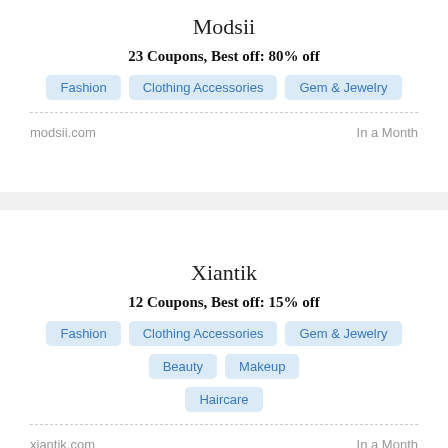Modsii
23 Coupons,  Best off: 80% off
Fashion
Clothing Accessories
Gem & Jewelry
modsii.com
In a Month
Xiantik
12 Coupons,  Best off: 15% off
Fashion
Clothing Accessories
Gem & Jewelry
Beauty
Makeup
Haircare
xiantik.com
In a Month